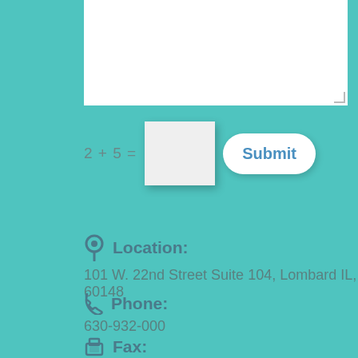[Figure (screenshot): White textarea input box at top of page]
2 + 5 =
Submit
Location:
101 W. 22nd Street Suite 104, Lombard IL, 60148
Phone:
630-932-000
Fax:
630-932-0005
Email:
g@lmana.org
Web: